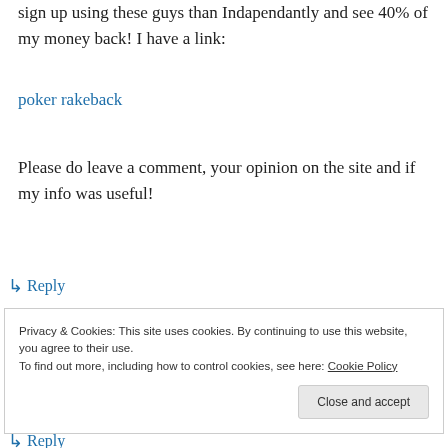sign up using these guys than Indapendantly and see 40% of my money back! I have a link:
poker rakeback
Please do leave a comment, your opinion on the site and if my info was useful!
↳ Reply
[Figure (screenshot): WordPress 'Post on the go' app advertisement banner with GET THE APP button and WordPress logo]
REPORT THIS AD
Privacy & Cookies: This site uses cookies. By continuing to use this website, you agree to their use.
To find out more, including how to control cookies, see here: Cookie Policy
Close and accept
↳ Reply